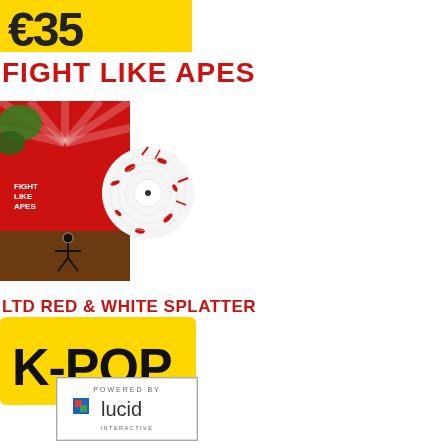[Figure (other): Yellow price banner showing €35]
FIGHT LIKE APES
[Figure (photo): Fight Like Apes album cover with vinyl record showing red and white splatter pattern]
LTD RED & WHITE SPLATTER
[Figure (logo): K-POP yellow speech bubble logo with black bold text K-POP]
[Figure (logo): Powered by Lucid Interactive logo in bordered box]